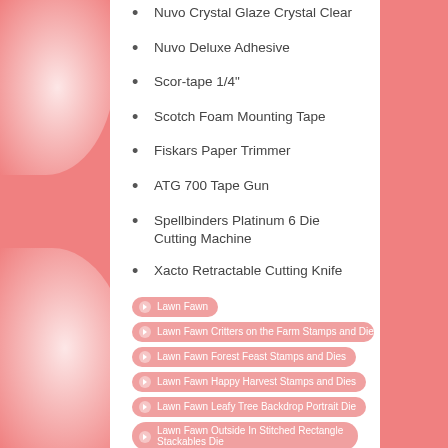Nuvo Crystal Glaze Crystal Clear
Nuvo Deluxe Adhesive
Scor-tape 1/4"
Scotch Foam Mounting Tape
Fiskars Paper Trimmer
ATG 700 Tape Gun
Spellbinders Platinum 6 Die Cutting Machine
Xacto Retractable Cutting Knife
Lawn Fawn
Lawn Fawn Critters on the Farm Stamps and Dies
Lawn Fawn Forest Feast Stamps and Dies
Lawn Fawn Happy Harvest Stamps and Dies
Lawn Fawn Leafy Tree Backdrop Portrait Die
Lawn Fawn Outside In Stitched Rectangle Stackables Die
Tombow Markers